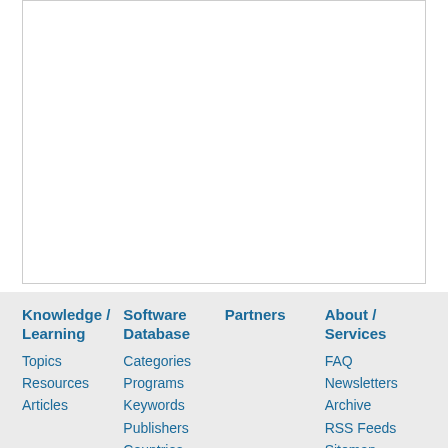[Figure (other): White rectangular box area (content placeholder)]
Knowledge / Learning
Topics
Resources
Articles
Software Database
Categories
Programs
Keywords
Publishers
Countries
Data Formats
Partners
About / Services
FAQ
Newsletters
Archive
RSS Feeds
Sitemap
Advertising